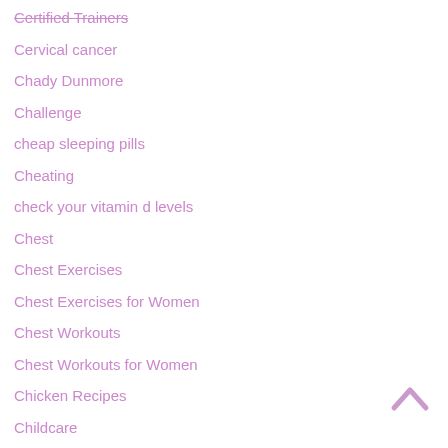Certified Trainers
Cervical cancer
Chady Dunmore
Challenge
cheap sleeping pills
Cheating
check your vitamin d levels
Chest
Chest Exercises
Chest Exercises for Women
Chest Workouts
Chest Workouts for Women
Chicken Recipes
Childcare
Chlamydia
[Figure (other): Back to top chevron arrow icon]